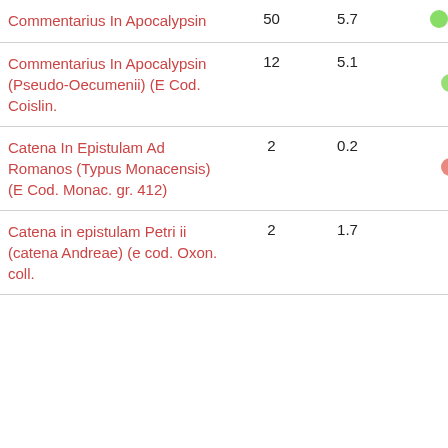| Name | Count | Value | Indicators |
| --- | --- | --- | --- |
| Commentarius In Apocalypsin | 50 | 5.7 | ●● |
| Commentarius In Apocalypsin (Pseudo-Oecumenii) (E Cod. Coislin. | 12 | 5.1 | ● |
| Catena In Epistulam Ad Romanos (Typus Monacensis) (E Cod. Monac. gr. 412) | 2 | 0.2 | ● |
| Catena in epistulam Petri ii (catena Andreae) (e cod. Oxon. coll. | 2 | 1.7 |  |